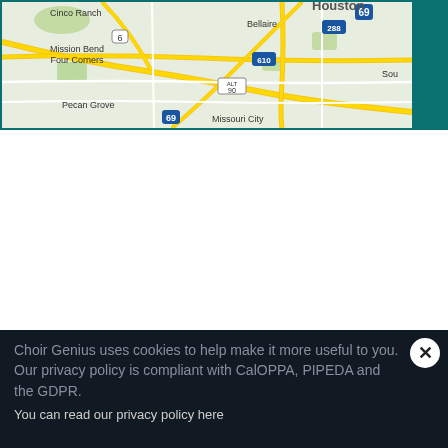[Figure (map): Google Maps view of Houston, TX area showing Cinco Ranch, Mission Bend, Four Corners, Bellaire, Pecan Grove, Missouri City, with highway labels including 69, 288, 610, ALT 90, 6]
Mailing Address
Houston Horizon Chorus
P.O. Box 572373
Houston, TX 77257
Phone: 1.877.571.4465
Choir Genius uses cookies to help make it more useful to you. Our privacy policy is compliant with CalOPPA, PIPEDA and the GDPR.
You can read our privacy policy here